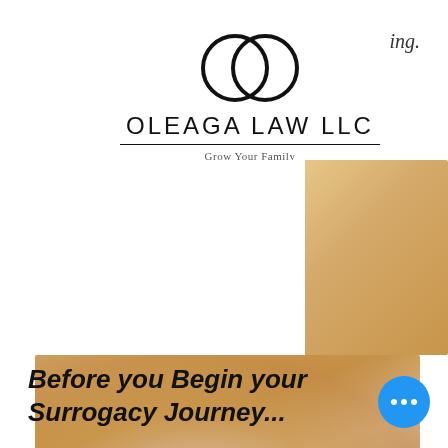[Figure (logo): Oleaga Law LLC logo: two overlapping circles (Olympic rings style), firm name OLEAGA LAW LLC with tagline Grow Your Family]
ing.
[Figure (photo): Blurred warm-toned photo of a person, amber and beige tones, background image for law firm website header]
[Figure (photo): Blurred warm-toned photo with amber, pink and beige gradient tones, main hero image for surrogacy law firm]
Before you Begin your Surrogacy Journey...